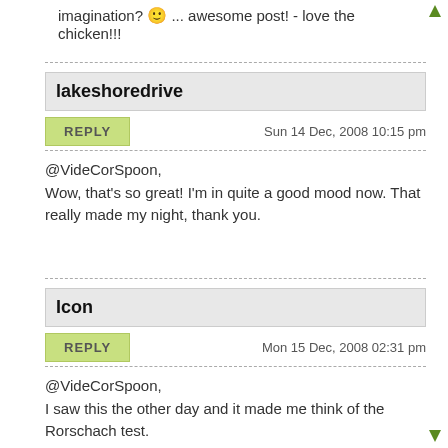imagination? 🙂 ... awesome post! - love the chicken!!!
lakeshoredrive
Sun 14 Dec, 2008 10:15 pm
@VideCorSpoon,
Wow, that's so great! I'm in quite a good mood now. That really made my night, thank you.
Icon
Mon 15 Dec, 2008 02:31 pm
@VideCorSpoon,
I saw this the other day and it made me think of the Rorschach test.